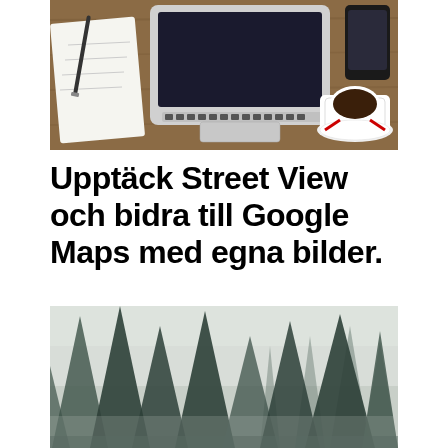[Figure (photo): Overhead view of a wooden desk with an open laptop, a notepad with pen, a smartphone, and a cup of coffee on a saucer.]
Upptäck Street View och bidra till Google Maps med egna bilder.
[Figure (photo): A misty forest scene with dark evergreen trees against a light grey foggy sky.]